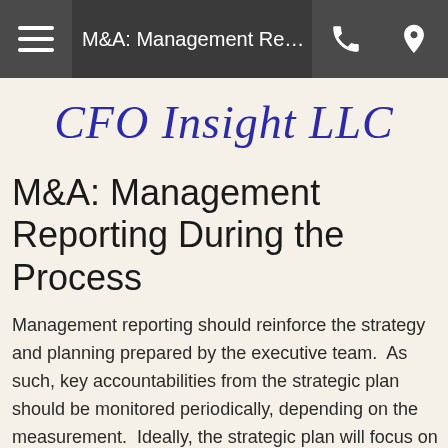M&A: Management Reporti...
[Figure (logo): CFO Insight LLC logo in blue italic serif font]
M&A: Management Reporting During the Process
Management reporting should reinforce the strategy and planning prepared by the executive team.  As such, key accountabilities from the strategic plan should be monitored periodically, depending on the measurement.  Ideally, the strategic plan will focus on major initiatives to improve shareholder value, and will identify specific responsibilities and accountabilities that must be extended throughout the organization.  Report timing and content will depend on the specific measure, and who in the organization